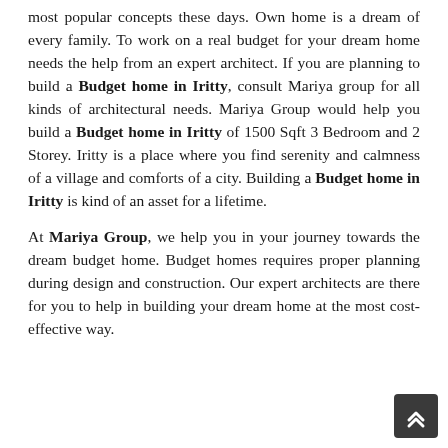most popular concepts these days. Own home is a dream of every family. To work on a real budget for your dream home needs the help from an expert architect. If you are planning to build a Budget home in Iritty, consult Mariya group for all kinds of architectural needs. Mariya Group would help you build a Budget home in Iritty of 1500 Sqft 3 Bedroom and 2 Storey. Iritty is a place where you find serenity and calmness of a village and comforts of a city. Building a Budget home in Iritty is kind of an asset for a lifetime.
At Mariya Group, we help you in your journey towards the dream budget home. Budget homes requires proper planning during design and construction. Our expert architects are there for you to help in building your dream home at the most cost-effective way.